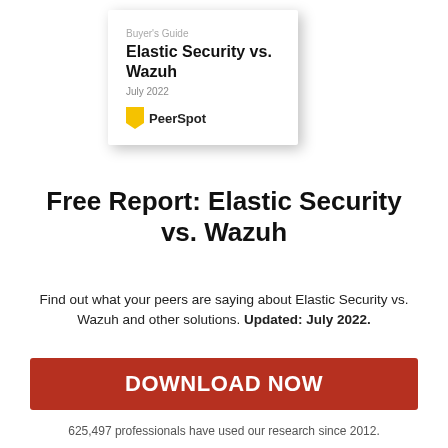[Figure (illustration): Book cover card showing Buyer's Guide for Elastic Security vs. Wazuh, July 2022, with PeerSpot logo]
Free Report: Elastic Security vs. Wazuh
Find out what your peers are saying about Elastic Security vs. Wazuh and other solutions. Updated: July 2022.
DOWNLOAD NOW
625,497 professionals have used our research since 2012.